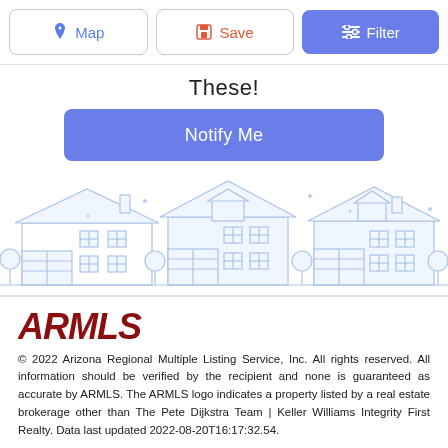Map  Save  Filter
These!
Notify Me
[Figure (illustration): Line-art illustration of three suburban houses in light blue outline style]
[Figure (logo): ARMLS logo in dark red bold italic text]
© 2022 Arizona Regional Multiple Listing Service, Inc. All rights reserved. All information should be verified by the recipient and none is guaranteed as accurate by ARMLS. The ARMLS logo indicates a property listed by a real estate brokerage other than The Pete Dijkstra Team | Keller Williams Integrity First Realty. Data last updated 2022-08-20T16:17:32.54.